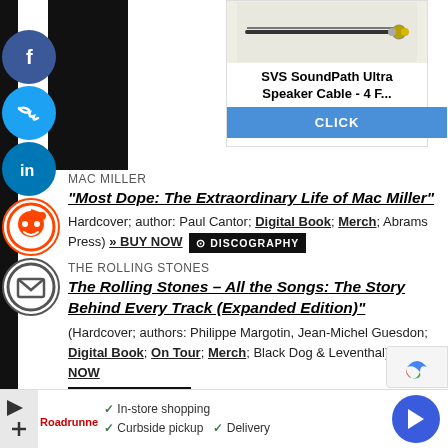[Figure (photo): Black rectangular image block on left side]
[Figure (photo): SVS SoundPath Ultra Speaker Cable product photo with cable connectors on light background]
SVS SoundPath Ultra Speaker Cable - 4 F...
[Figure (other): Blue CLICK button for advertisement]
MAC MILLER
“Most Dope: The Extraordinary Life of Mac Miller”
Hardcover; author: Paul Cantor; Digital Book; Merch; Abrams Press) » BUY NOW DISCOGRAPHY
THE ROLLING STONES
The Rolling Stones – All the Songs: The Story Behind Every Track (Expanded Edition)"
(Hardcover; authors: Philippe Margotin, Jean-Michel Guesdon; Digital Book; On Tour; Merch; Black Dog & Leventhal) » BUY NOW DISCOGRAPHY
[Figure (other): Bottom advertisement bar with in-store shopping, curbside pickup, delivery options and navigation arrow]
[Figure (other): reCAPTCHA badge bottom right]